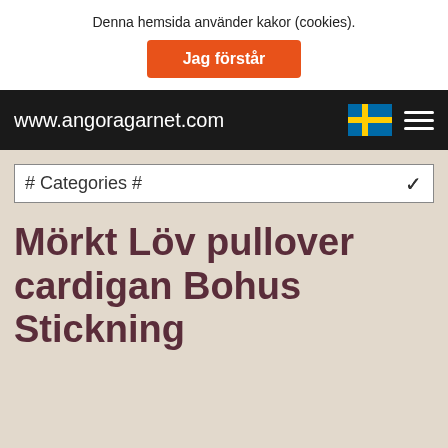Denna hemsida använder kakor (cookies).
Jag förstår
www.angoragarnet.com
# Categories #
Mörkt Löv pullover cardigan Bohus Stickning